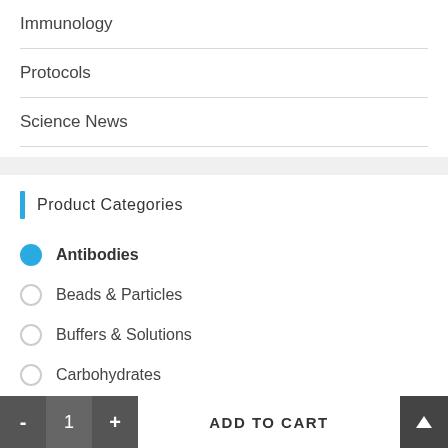Immunology
Protocols
Science News
Product Categories
Antibodies
Beads & Particles
Buffers & Solutions
Carbohydrates
Cell Biology
Cellular Biology
- 1 + ADD TO CART